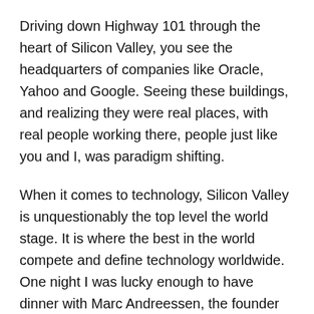Driving down Highway 101 through the heart of Silicon Valley, you see the headquarters of companies like Oracle, Yahoo and Google. Seeing these buildings, and realizing they were real places, with real people working there, people just like you and I, was paradigm shifting.
When it comes to technology, Silicon Valley is unquestionably the top level the world stage. It is where the best in the world compete and define technology worldwide. One night I was lucky enough to have dinner with Marc Andreessen, the founder of Netscape, because a friend of a friend made an introduction and he was free and keen to find out about what we were doing. It is just that kind of place.
While initially feeling very inadequate and out of my depth, it didn't take too many meetings with VCs, too